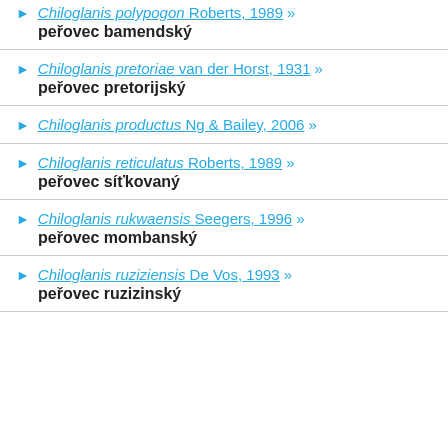Chiloglanis polypogon Roberts, 1989 » peřovec bamendský
Chiloglanis pretoriae van der Horst, 1931 » peřovec pretorijský
Chiloglanis productus Ng & Bailey, 2006 »
Chiloglanis reticulatus Roberts, 1989 » peřovec síťkovaný
Chiloglanis rukwaensis Seegers, 1996 » peřovec mombanský
Chiloglanis ruziziensis De Vos, 1993 » peřovec ruzizinský